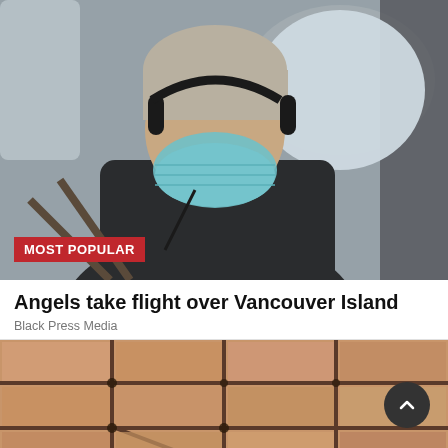[Figure (photo): Person wearing headphones and a blue surgical mask sitting in a small aircraft cockpit, viewed from the side. MOST POPULAR badge overlaid at bottom left.]
Angels take flight over Vancouver Island
Black Press Media
[Figure (photo): Close-up of terracotta/brown tiles with dark grout lines meeting at a corner, showing mold or dirt in the grout.]